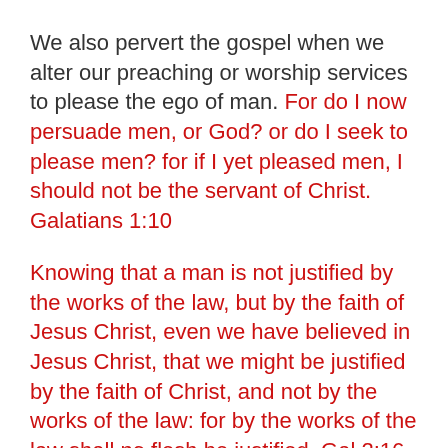We also pervert the gospel when we alter our preaching or worship services to please the ego of man. For do I now persuade men, or God? or do I seek to please men? for if I yet pleased men, I should not be the servant of Christ. Galatians 1:10
Knowing that a man is not justified by the works of the law, but by the faith of Jesus Christ, even we have believed in Jesus Christ, that we might be justified by the faith of Christ, and not by the works of the law: for by the works of the law shall no flesh be justified. Gal 2:16
Are ye so foolish? having begun in the Spirit, are ye now made perfect by the flesh? Galatians 3:3
These verses make it clear we are not saved by the